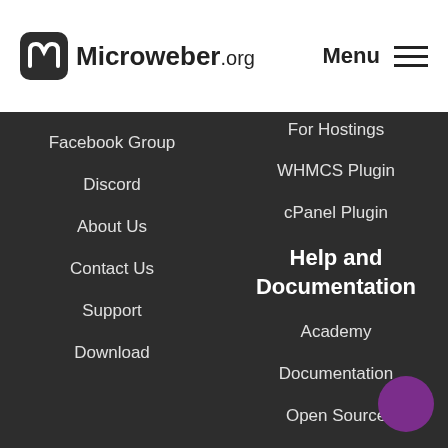Microweber.org — Menu
Facebook Group
Discord
About Us
Contact Us
Support
Download
For Hostings
WHMCS Plugin
cPanel Plugin
Help and Documentation
Academy
Documentation
Open Source
Suggest a Feature
Custom Development
About Us